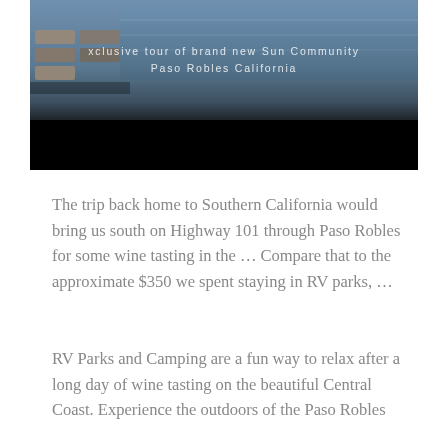[Figure (photo): A screenshot/thumbnail of a video showing a swimming pool area with lounge chairs. Overlay text reads: 'xclusive tour of brand new Sun Community [in] Paso Robles California'. The lower portion of the image is black (video player bar).]
The trip back home to Southern California would bring us south on Highway 101 through Paso Robles for some wine tasting in the … Compare that to the approximate $350 we spent staying in RV parks, …
RV Parks and Camping are a fun way to relax after a long day of wine tasting on the beautiful Central Coast. Experience the outdoors of the Paso Robles